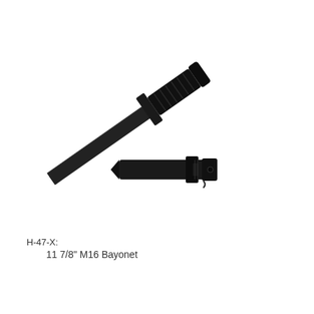[Figure (photo): Product photo of a black M16 bayonet knife shown diagonally with blade pointing lower-left and textured black handle upper-right, alongside a separate black scabbard/sheath shown horizontally below and to the right of the blade.]
H-47-X:
    11 7/8" M16 Bayonet